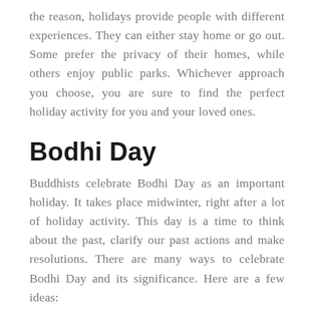the reason, holidays provide people with different experiences. They can either stay home or go out. Some prefer the privacy of their homes, while others enjoy public parks. Whichever approach you choose, you are sure to find the perfect holiday activity for you and your loved ones.
Bodhi Day
Buddhists celebrate Bodhi Day as an important holiday. It takes place midwinter, right after a lot of holiday activity. This day is a time to think about the past, clarify our past actions and make resolutions. There are many ways to celebrate Bodhi Day and its significance. Here are a few ideas: